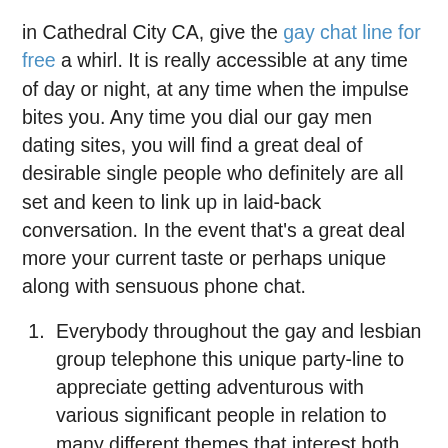in Cathedral City CA, give the gay chat line for free a whirl. It is really accessible at any time of day or night, at any time when the impulse bites you. Any time you dial our gay men dating sites, you will find a great deal of desirable single people who definitely are all set and keen to link up in laid-back conversation. In the event that's a great deal more your current taste or perhaps unique along with sensuous phone chat.
Everybody throughout the gay and lesbian group telephone this unique party-line to appreciate getting adventurous with various significant people in relation to many different themes that interest both parties; almost anything from every day chatting all the way to hot one 2 one serious pounding.
Just in case you have not phoned us beforehand; in that event your 1st few hours or simply several days are going to be no cost. Yeah, that is truly